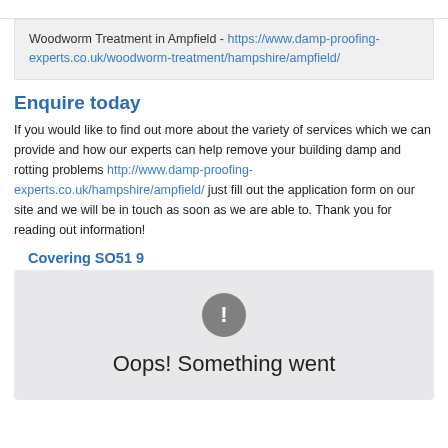Woodworm Treatment in Ampfield - https://www.damp-proofing-experts.co.uk/woodworm-treatment/hampshire/ampfield/
Enquire today
If you would like to find out more about the variety of services which we can provide and how our experts can help remove your building damp and rotting problems http://www.damp-proofing-experts.co.uk/hampshire/ampfield/ just fill out the application form on our site and we will be in touch as soon as we are able to. Thank you for reading out information!
Covering SO51 9
[Figure (screenshot): Map placeholder with error icon and 'Oops! Something went' text on grey background]